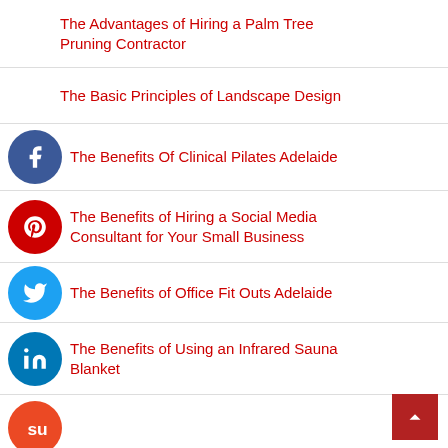The Advantages of Hiring a Palm Tree Pruning Contractor
The Basic Principles of Landscape Design
The Benefits Of Clinical Pilates Adelaide
The Benefits of Hiring a Social Media Consultant for Your Small Business
The Benefits of Office Fit Outs Adelaide
The Benefits of Using an Infrared Sauna Blanket
The Benefits of Using an Infrared Thermometer